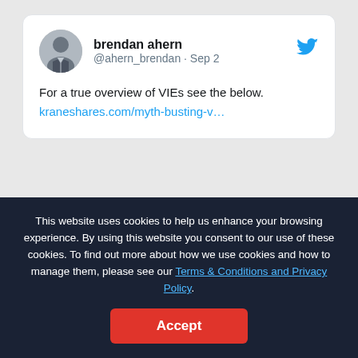[Figure (screenshot): Twitter/X profile card for brendan ahern (@ahern_brendan) showing avatar photo and Twitter bird icon]
brendan ahern
@ahern_brendan · Sep 2

For a true overview of VIEs see the below.
kraneshares.com/myth-busting-v...
Latest Videos:
This website uses cookies to help us enhance your browsing experience. By using this website you consent to our use of these cookies. To find out more about how we use cookies and how to manage them, please see our Terms & Conditions and Privacy Policy.
Accept